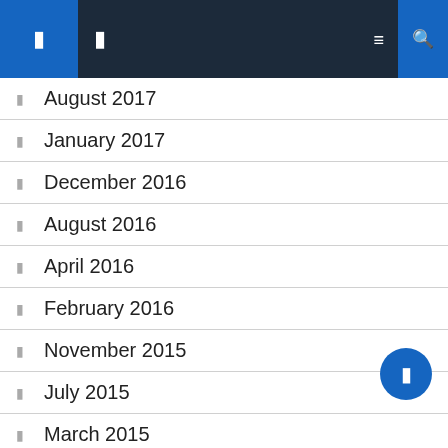Navigation bar with menu and search icons
August 2017
January 2017
December 2016
August 2016
April 2016
February 2016
November 2015
July 2015
March 2015
August 2014 (partial)